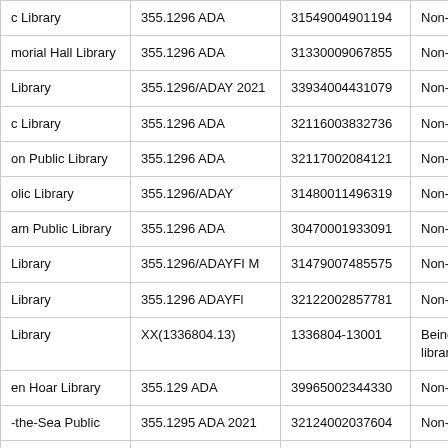| Library | Call Number | Barcode | Type |
| --- | --- | --- | --- |
| c Library | 355.1296 ADA | 31549004901194 | Non-Fi |
| morial Hall Library | 355.1296 ADA | 31330009067855 | Non-Fi |
| Library | 355.1296/ADAY 2021 | 33934004431079 | Non-Fi |
| c Library | 355.1296 ADA | 32116003832736 | Non-Fi |
| on Public Library | 355.1296 ADA | 32117002084121 | Non-Fi |
| olic Library | 355.1296/ADAY | 31480011496319 | Non-Fi |
| am Public Library | 355.1296 ADA | 30470001933091 | Non-Fi |
| Library | 355.1296/ADAYFI M | 31479007485575 | Non-Fi |
| Library | 355.1296 ADAYFl | 32122002857781 | Non-Fi |
| Library | XX(1336804.13) | 1336804-13001 | Being a library |
| en Hoar Library | 355.129 ADA | 39965002344330 | Non-Fi |
| the-Sea Public | 355.1295 ADA 2021 | 32124002037604 | Non-Fi |
| ns Memorial | 355.129 ADA | 31548003362127 | Non-Fi |